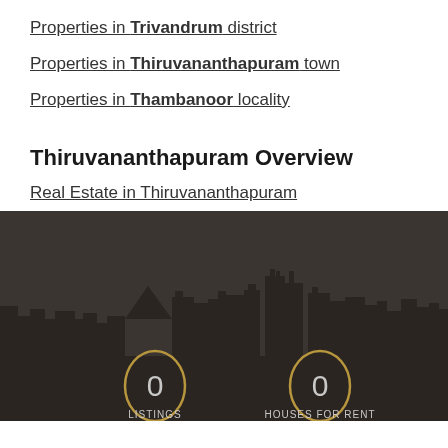Properties in Trivandrum district
Properties in Thiruvananthapuram town
Properties in Thambanoor locality
Thiruvananthapuram Overview
Real Estate in Thiruvananthapuram
[Figure (illustration): City skyline silhouette of Thiruvananthapuram on dark background with stats showing 0 Listings and 0 Houses for Rent]